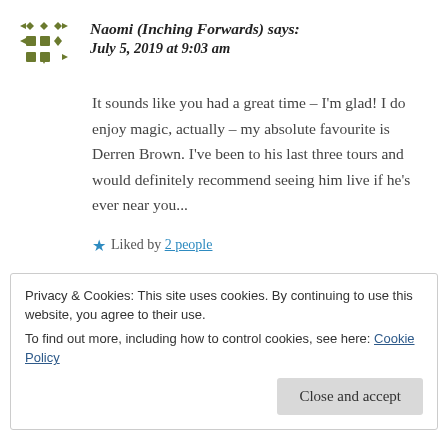Naomi (Inching Forwards) says: July 5, 2019 at 9:03 am
It sounds like you had a great time – I'm glad! I do enjoy magic, actually – my absolute favourite is Derren Brown. I've been to his last three tours and would definitely recommend seeing him live if he's ever near you...
★ Liked by 2 people
Privacy & Cookies: This site uses cookies. By continuing to use this website, you agree to their use.
To find out more, including how to control cookies, see here: Cookie Policy
Close and accept